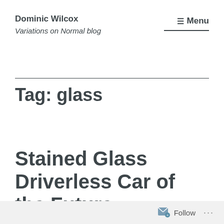Dominic Wilcox
Variations on Normal blog
≡ Menu
Tag: glass
Stained Glass Driverless Car of the Future
Follow ...